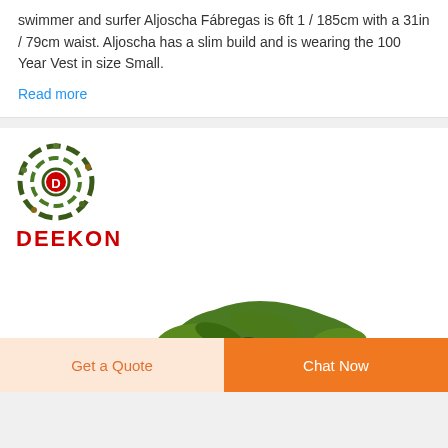swimmer and surfer Aljoscha Fábregas is 6ft 1 / 185cm with a 31in / 79cm waist. Aljoscha has a slim build and is wearing the 100 Year Vest in size Small.
Read more
[Figure (logo): DEEKON brand logo with circular camouflage target symbol and red letter D, with DEEKON text in bold red below]
[Figure (photo): A pile of green and brown camouflage netting material]